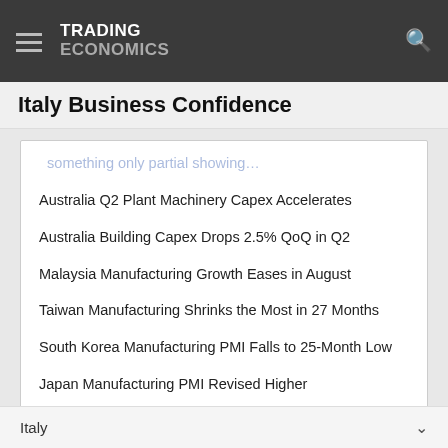TRADING ECONOMICS
Italy Business Confidence
Australia Q2 Plant Machinery Capex Accelerates
Australia Building Capex Drops 2.5% QoQ in Q2
Malaysia Manufacturing Growth Eases in August
Taiwan Manufacturing Shrinks the Most in 27 Months
South Korea Manufacturing PMI Falls to 25-Month Low
Japan Manufacturing PMI Revised Higher
US Futures Extend Fall on Rate Hike Jitters
Italy